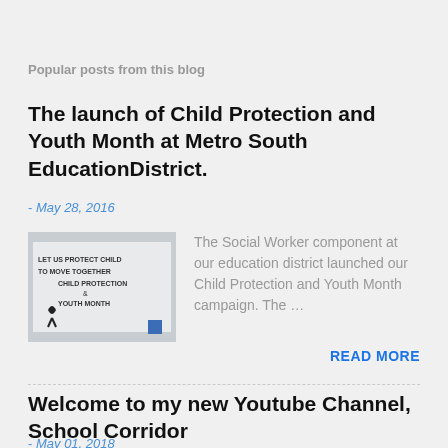Popular posts from this blog
The launch of Child Protection and Youth Month at Metro South EducationDistrict.
- May 28, 2016
[Figure (photo): Banner reading LET US PROTECT... TO MOVE... CHILD PROTECTION & YOUTH MONTH with a ribbon logo]
The Social Worker component at our education district launched our Child Protection and Youth Month campaign. The ...
READ MORE
Welcome to my new Youtube Channel, School Corridor
- May 01, 2018